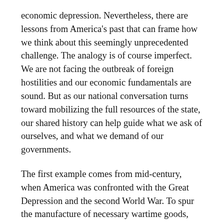economic depression. Nevertheless, there are lessons from America's past that can frame how we think about this seemingly unprecedented challenge. The analogy is of course imperfect. We are not facing the outbreak of foreign hostilities and our economic fundamentals are sound. But as our national conversation turns toward mobilizing the full resources of the state, our shared history can help guide what we ask of ourselves, and what we demand of our governments.
The first example comes from mid-century, when America was confronted with the Great Depression and the second World War. To spur the manufacture of necessary wartime goods, Franklin Roosevelt established the War Production Board, which was charged with converting industries from peacetime manufacturing to war production, prioritizing the distribution of materials and services, halting nonessential production, and allocating materials. American businesses rapidly converted their factories and retrained their workers to produce necessary life-saving materials. Realizing that the war had exposed dangerous shortcomings in the integrity of its supply